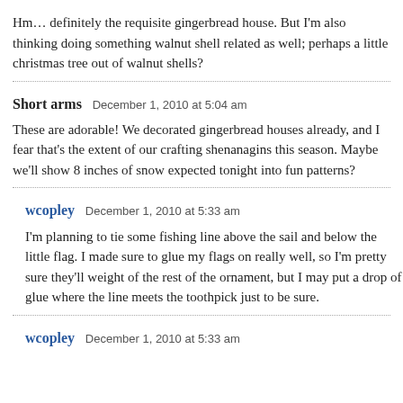Hm… definitely the requisite gingerbread house. But I'm also thinking doing something walnut shell related as well; perhaps a little christmas tree out of walnut shells?
Short arms   December 1, 2010 at 5:04 am
These are adorable! We decorated gingerbread houses already, and I fear that's the extent of our crafting shenanagins this season. Maybe we'll show 8 inches of snow expected tonight into fun patterns?
wcopley   December 1, 2010 at 5:33 am
I'm planning to tie some fishing line above the sail and below the little flag. I made sure to glue my flags on really well, so I'm pretty sure they'll weight of the rest of the ornament, but I may put a drop of glue where the line meets the toothpick just to be sure.
wcopley   December 1, 2010 at 5:33 am